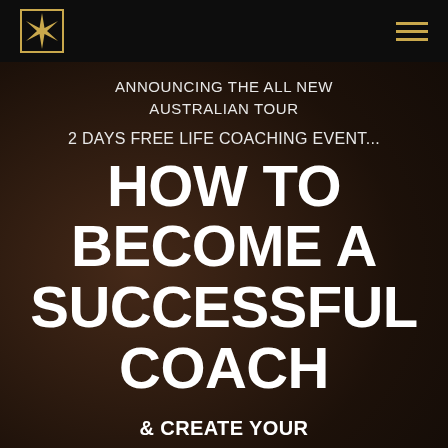[Figure (other): Navigation bar with a gold star/compass logo on the left and a gold hamburger menu icon on the right, on a black background]
ANNOUNCING THE ALL NEW AUSTRALIAN TOUR
2 DAYS FREE LIFE COACHING EVENT...
HOW TO BECOME A SUCCESSFUL COACH
& CREATE YOUR EXTRAORDINARY LIFE